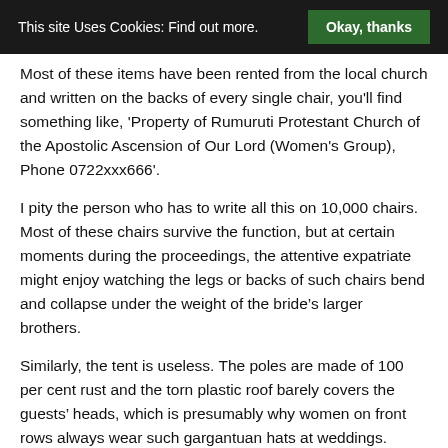This site Uses Cookies: Find out more.   Okay, thanks
Most of these items have been rented from the local church and written on the backs of every single chair, you'll find something like, 'Property of Rumuruti Protestant Church of the Apostolic Ascension of Our Lord (Women's Group), Phone 0722xxx666'.
I pity the person who has to write all this on 10,000 chairs. Most of these chairs survive the function, but at certain moments during the proceedings, the attentive expatriate might enjoy watching the legs or backs of such chairs bend and collapse under the weight of the bride’s larger brothers.
Similarly, the tent is useless. The poles are made of 100 per cent rust and the torn plastic roof barely covers the guests’ heads, which is presumably why women on front rows always wear such gargantuan hats at weddings.